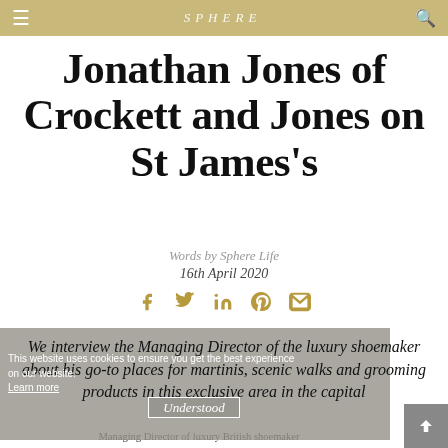SPHERE
Jonathan Jones of Crockett and Jones on St James's
Words by Sphere Life
16th April 2020
[Figure (infographic): Social share icons: Facebook, Twitter, LinkedIn, Pinterest, Email in gold/tan color]
We interview the Managing Director of the luxury shoemaker about his go-to places for martinis, scenic walks and grooming products in this exclusive area in the capital
This website uses cookies to ensure you get the best experience on our website. Learn more
Understood
Managing Director of luxury British shoemaker